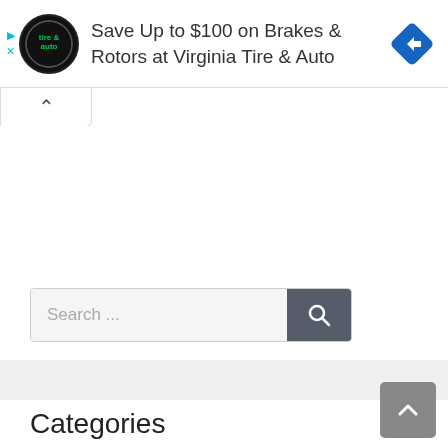[Figure (screenshot): Advertisement banner: Virginia Tire & Auto logo on left, text 'Save Up to $100 on Brakes & Rotors at Virginia Tire & Auto', blue diamond navigation icon on right]
Search ...
Categories